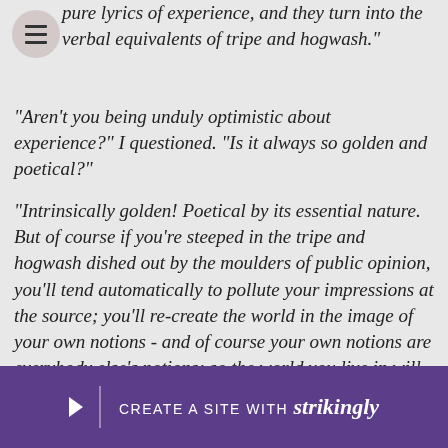pure lyrics of experience, and they turn into the verbal equivalents of tripe and hogwash."
"Aren't you being unduly optimistic about experience?" I questioned. "Is it always so golden and poetical?"
"Intrinsically golden! Poetical by its essential nature. But of course if you're steeped in the tripe and hogwash dished out by the moulders of public opinion, you'll tend automatically to pollute your impressions at the source; you'll re-create the world in the image of your own notions - and of course your own notions are everybody else's notions; so the world you live in will consist of the Lowest Common Denominator of the local culture. But the original poetry is always there - always."
[Figure (screenshot): Purple banner at bottom with arrow icon, vertical divider, and text: CREATE A SITE WITH strikingly]